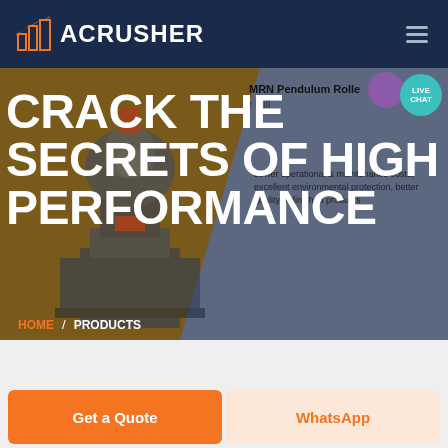ACRUSHER
CRACK THE SECRETS OF HIGH PERFORMANCE
MRN Pendulum Roller Mill
Lower operational & maintenance costs, excellent environmental protection, better quality of finished products
HOME / PRODUCTS
Get a Quote
WhatsApp